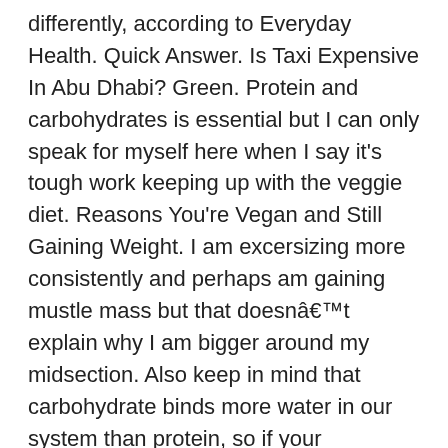differently, according to Everyday Health. Quick Answer. Is Taxi Expensive In Abu Dhabi? Green. Protein and carbohydrates is essential but I can only speak for myself here when I say it's tough work keeping up with the veggie diet. Reasons You're Vegan and Still Gaining Weight. I am excersizing more consistently and perhaps am gaining mustle mass but that doesnâ€™t explain why I am bigger around my midsection. Also keep in mind that carbohydrate binds more water in our system than protein, so if your macronutrient (carbohydrate, protein and fat) content has shifted to a higher percentage of carbohydrates, this can explain water weight as well. Lv 4. The only reliable vegan sources of B12 are foods fortified with B12 (including some plant milks, some soy products and some breakfast cereals) and B12 supplements, such as our very own VEG 1. … Eating mostly whole foods. The fix: Ditch rigid diet rules. BLINDING LIGHTS. it helps me a lot as I quite often am too lazy or tired to cook and better don't have dinner at